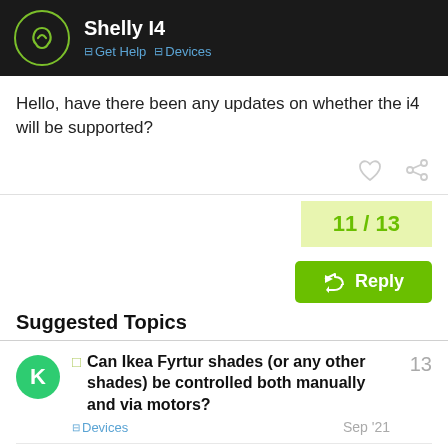Shelly I4 · Get Help · Devices
Hello, have there been any updates on whether the i4 will be supported?
11 / 13
Reply
Suggested Topics
Can Ikea Fyrtur shades (or any other shades) be controlled both manually and via motors? · Devices · Sep '21 · 13
Flic Twist: The Wireless Dial for your Smart Home · 1